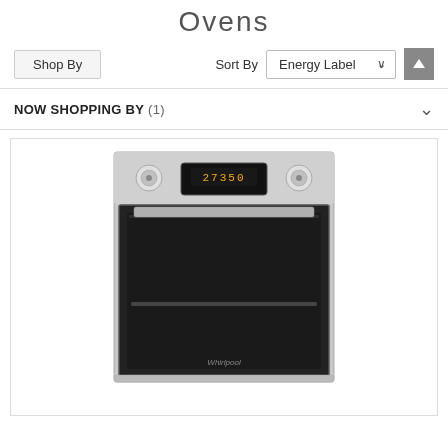Ovens
Shop By   Sort By   Energy Label ↑
NOW SHOPPING BY (1)
[Figure (photo): Whirlpool stainless steel built-in electric oven with black glass door, digital display, and two control knobs]